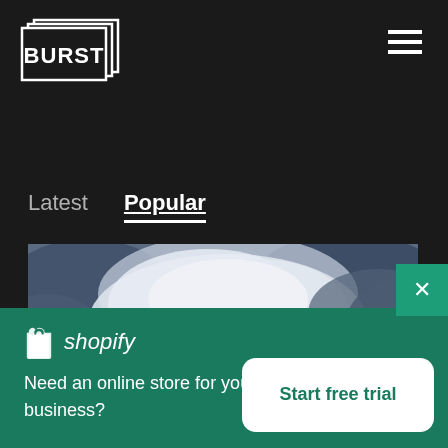[Figure (logo): BURST logo — white bold text in a stacked rectangular border on black background, top-left of dark header]
[Figure (other): Hamburger menu icon — three horizontal white lines, top-right corner]
Latest
Popular
[Figure (photo): Cloudy sky photo — dramatic blue-grey clouds with lighter white cloud center, partially visible]
[Figure (logo): Shopify logo — white shopping bag icon with 'S' plus italic 'shopify' wordmark in white]
Need an online store for your business?
Start free trial